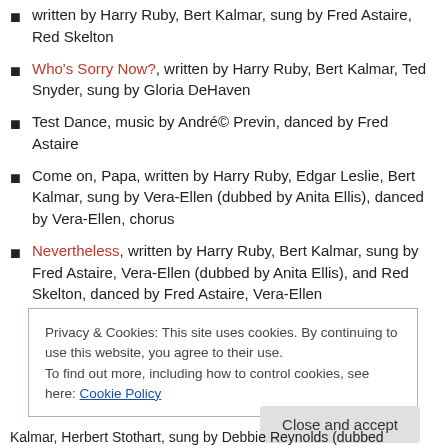written by Harry Ruby, Bert Kalmar, sung by Fred Astaire, Red Skelton
Who's Sorry Now?, written by Harry Ruby, Bert Kalmar, Ted Snyder, sung by Gloria DeHaven
Test Dance, music by André Previn, danced by Fred Astaire
Come on, Papa, written by Harry Ruby, Edgar Leslie, Bert Kalmar, sung by Vera-Ellen (dubbed by Anita Ellis), danced by Vera-Ellen, chorus
Nevertheless, written by Harry Ruby, Bert Kalmar, sung by Fred Astaire, Vera-Ellen (dubbed by Anita Ellis), and Red Skelton, danced by Fred Astaire, Vera-Ellen
Privacy & Cookies: This site uses cookies. By continuing to use this website, you agree to their use.
To find out more, including how to control cookies, see here: Cookie Policy
Close and accept
Kalmar, Herbert Stothart, sung by Debbie Reynolds (dubbed